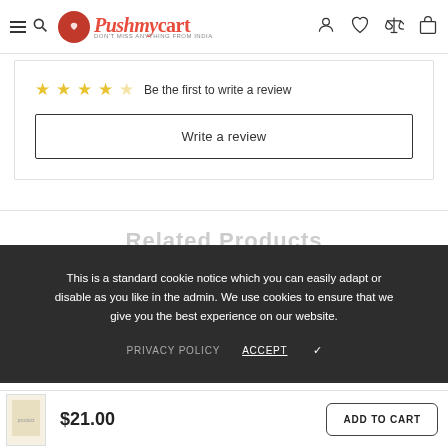Pushmycart — Don't Miss Anything From India
Be the first to write a review
Write a review
Related Products
This is a standard cookie notice which you can easily adapt or disable as you like in the admin. We use cookies to ensure that we give you the best experience on our website.
PRIVACY POLICY
ACCEPT ✓
$21.00
ADD TO CART